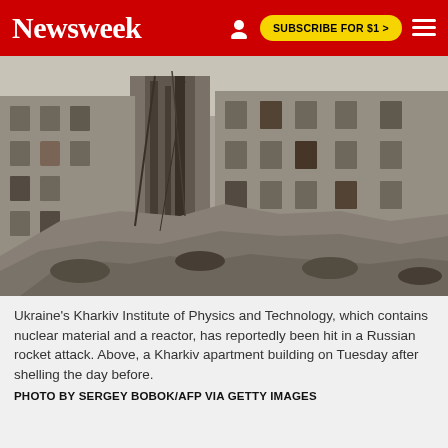Newsweek | SUBSCRIBE FOR $1 >
[Figure (photo): Destroyed apartment building in Kharkiv, Ukraine — charred multi-story residential building facade with massive rubble pile in foreground, black-and-white tones with some color, showing war damage from Russian shelling.]
Ukraine's Kharkiv Institute of Physics and Technology, which contains nuclear material and a reactor, has reportedly been hit in a Russian rocket attack. Above, a Kharkiv apartment building on Tuesday after shelling the day before.
PHOTO BY SERGEY BOBOK/AFP VIA GETTY IMAGES